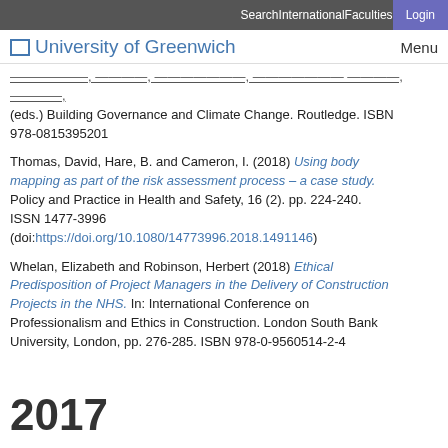Search  International  Faculties  Login
University of Greenwich  Menu
...(eds.) Building Governance and Climate Change. Routledge. ISBN 978-0815395201
Thomas, David, Hare, B. and Cameron, I. (2018) Using body mapping as part of the risk assessment process – a case study. Policy and Practice in Health and Safety, 16 (2). pp. 224-240. ISSN 1477-3996 (doi:https://doi.org/10.1080/14773996.2018.1491146)
Whelan, Elizabeth and Robinson, Herbert (2018) Ethical Predisposition of Project Managers in the Delivery of Construction Projects in the NHS. In: International Conference on Professionalism and Ethics in Construction. London South Bank University, London, pp. 276-285. ISBN 978-0-9560514-2-4
2017